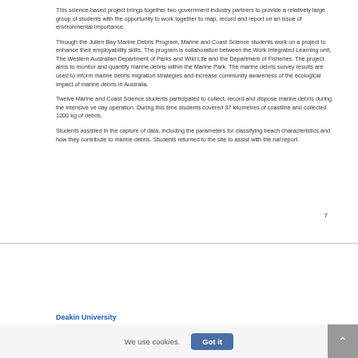This science-based project brings together two government industry partners to provide a relatively large group of students with the opportunity to work together to map, record and report on an issue of environmental importance.
Through the Julien Bay Marine Debris Program, Marine and Coast Science students work on a project to enhance their employability skills. The program is collaboration between the Work Integrated Learning unit, The Western Australian Department of Parks and Wild Life and the Department of Fisheries. The project aims to monitor and quantify marine debris within the Marine Park. The marine debris survey results are used to inform marine debris migration strategies and increase community awareness of the ecological impact of marine debris in Australia.
Twelve Marine and Coast Science students participated to collect, record and dispose marine debris during the intensive ve day operation. During this time students covered 37 kilometres of coastline and collected 1200 kg of debris.
Students assisted in the capture of data, including the parameters for classifying beach characteristics and how they contribute to marine debris. Students returned to the site to assist with the nal report.
7
Deakin University